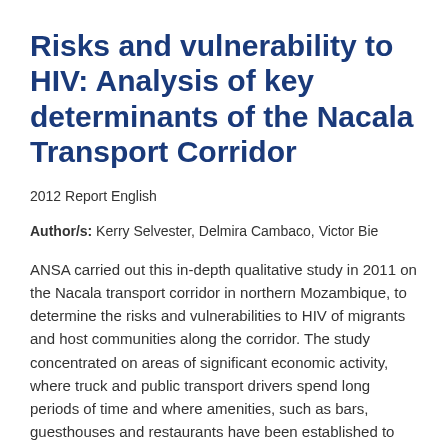Risks and vulnerability to HIV: Analysis of key determinants of the Nacala Transport Corridor
2012 Report English
Author/s: Kerry Selvester, Delmira Cambaco, Victor Bie
ANSA carried out this in-depth qualitative study in 2011 on the Nacala transport corridor in northern Mozambique, to determine the risks and vulnerabilities to HIV of migrants and host communities along the corridor. The study concentrated on areas of significant economic activity, where truck and public transport drivers spend long periods of time and where amenities, such as bars, guesthouses and restaurants have been established to serve increasing numbers of mobile...
Read more